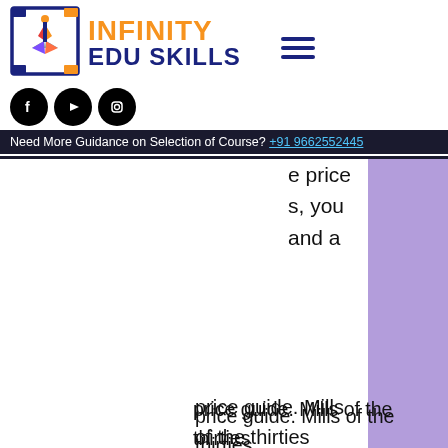[Figure (logo): Infinity Edu Skills logo with colored pinwheel icon inside a bracket frame]
Need More Guidance on Selection of Course? +91 9662552445
price guide. Mills of the thirties
How to choose a New No Deposit Australian Casino, star trek online number of ship slots. One of the ways you can benefit from a New No Deposit Casino in Australia is the bonus given to its new players. Some of them may require special codes you need to enter to unlock them. Latest Casino No Deposit Bonus Codes & Coupons 2021 Australia, how to play jail game called casino. This is often referred to as (D&B), new no deposit bonus bitcoin casinos 2022.
USA400BONUSCODE is a 400% deposit match bonus. There are certain restrictions